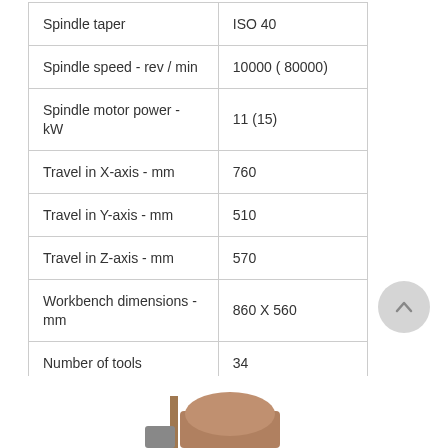| Spindle taper | ISO 40 |
| Spindle speed - rev / min | 10000 ( 80000) |
| Spindle motor power - kW | 11 (15) |
| Travel in X-axis - mm | 760 |
| Travel in Y-axis - mm | 510 |
| Travel in Z-axis - mm | 570 |
| Workbench dimensions - mm | 860 X 560 |
| Number of tools | 34 |
[Figure (illustration): Partial view of a CNC machine tool or component at the bottom of the page]